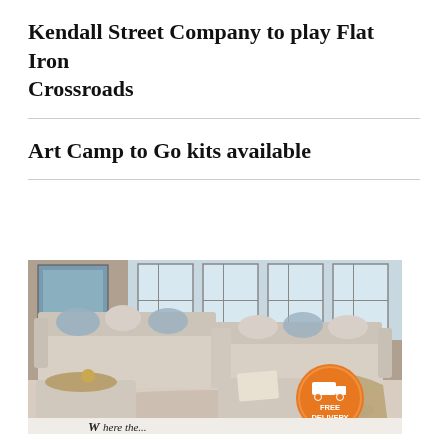Kendall Street Company to play Flat Iron Crossroads
Art Camp to Go kits available
[Figure (photo): Advertisement showing a large light grey sectional sofa set in a living room, with an orange circular 'FREE DELIVERY' badge overlaid on the lower right. The ad appears to be for a furniture store (partially visible text at bottom).]